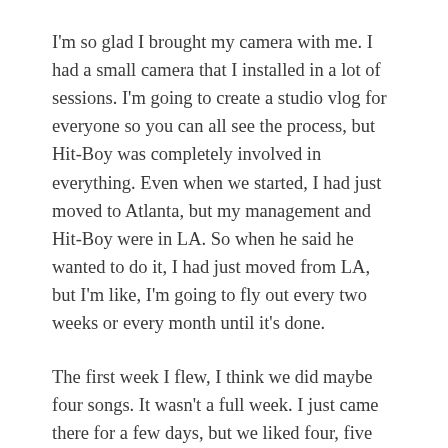I'm so glad I brought my camera with me. I had a small camera that I installed in a lot of sessions. I'm going to create a studio vlog for everyone so you can all see the process, but Hit-Boy was completely involved in everything. Even when we started, I had just moved to Atlanta, but my management and Hit-Boy were in LA. So when he said he wanted to do it, I had just moved from LA, but I'm like, I'm going to fly out every two weeks or every month until it's done.
The first week I flew, I think we did maybe four songs. It wasn't a full week. I just came there for a few days, but we liked four, five songs. I came back two weeks later, we did four, five more songs. Then I ended up moving [back to] LA, and once I moved here, we really tweaked everything and started adding features. The process was really convenient. Literally, I wouldn't be here if Hit-Boy wasn't here and all of his beats are by him. I may have done a song or two without him being there but I still call him before the session. He chose the rhythms and sent them to me. So it was based in, based it's really, really a creative...